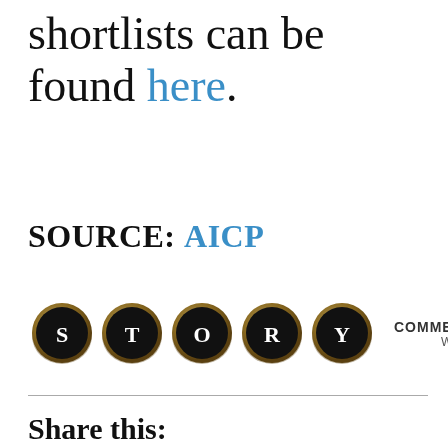shortlists can be found here.
SOURCE: AICP
[Figure (logo): STORY Commercials / New Media logo with typewriter key buttons spelling STORY, and text 'COMMERCIALS / NEW MEDIA' and 'WWW.STORYCO.TV']
Share this: